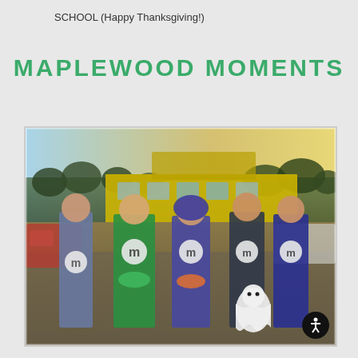SCHOOL (Happy Thanksgiving!)
MAPLEWOOD MOMENTS
[Figure (photo): Group photo of five people dressed in M&M costumes (red, green, blue, and two others) standing in a parking lot in front of a school bus with its trunk/hatch open, holding candy bowls. A white dog in a ghost costume sits beside them. Trees and cars visible in background, taken at sunset.]